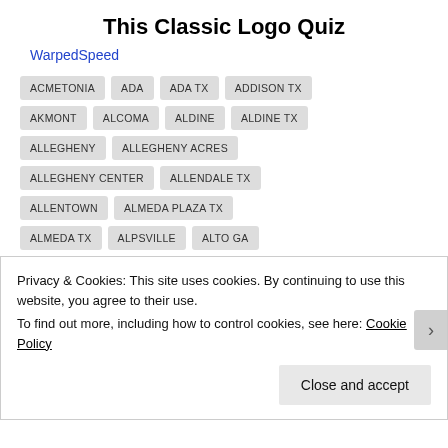This Classic Logo Quiz
WarpedSpeed
ACMETONIA
ADA
ADA TX
ADDISON TX
AKMONT
ALCOMA
ALDINE
ALDINE TX
ALLEGHENY
ALLEGHENY ACRES
ALLEGHENY CENTER
ALLENDALE TX
ALLENTOWN
ALMEDA PLAZA TX
ALMEDA TX
ALPSVILLE
ALTO GA
ANTELOPE
ARCADE
ARCADE GA
ARCADIA PARK TX
ARDEN
ARDEN PARK
Privacy & Cookies: This site uses cookies. By continuing to use this website, you agree to their use.
To find out more, including how to control cookies, see here: Cookie Policy